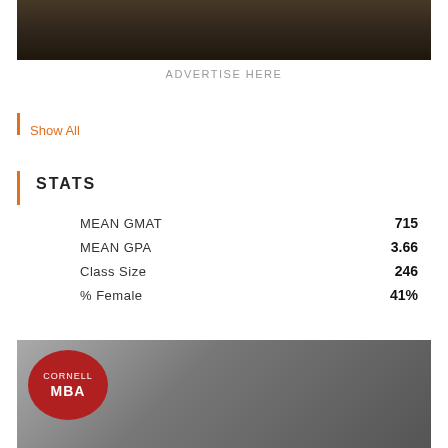[Figure (photo): Dark photo of a desk/workspace scene, partially visible at top]
ADVERTISE HERE
Show All
STATS
| Stat | Value |
| --- | --- |
| MEAN GMAT | 715 |
| MEAN GPA | 3.66 |
| Class Size | 246 |
| % Female | 41% |
[Figure (photo): Grayscale photo of a young man looking sideways, with Cornell MBA red circular badge overlay]